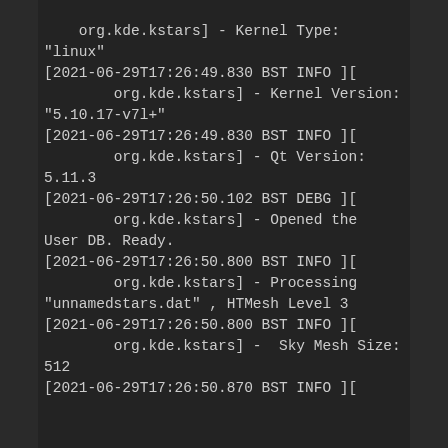org.kde.kstars] - Kernel Type: "linux"
[2021-06-29T17:26:49.830 BST INFO ][ org.kde.kstars] - Kernel Version: "5.10.17-v7l+"
[2021-06-29T17:26:49.830 BST INFO ][ org.kde.kstars] - Qt Version: 5.11.3
[2021-06-29T17:26:50.102 BST DEBG ][ org.kde.kstars] - Opened the User DB. Ready.
[2021-06-29T17:26:50.800 BST INFO ][ org.kde.kstars] - Processing "unnamedstars.dat" , HTMesh Level 3
[2021-06-29T17:26:50.800 BST INFO ][ org.kde.kstars] -  Sky Mesh Size: 512
[2021-06-29T17:26:50.870 BST INFO ][